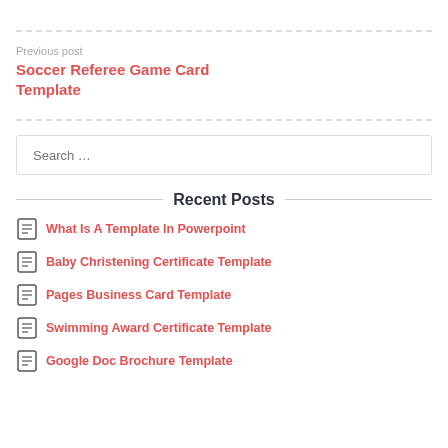Previous post
Soccer Referee Game Card Template
Search …
Recent Posts
What Is A Template In Powerpoint
Baby Christening Certificate Template
Pages Business Card Template
Swimming Award Certificate Template
Google Doc Brochure Template